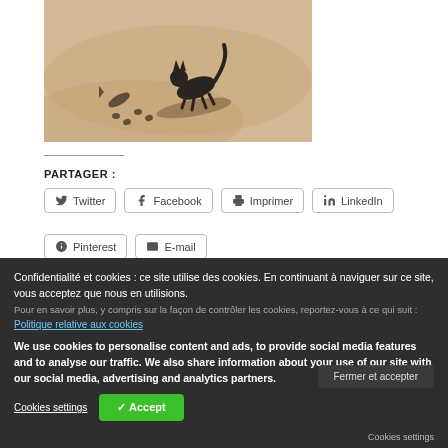[Figure (photo): Photograph of a cat or small animal walking on sandy desert dunes, casting a shadow, with paw prints visible in the sand.]
PARTAGER :
Twitter Facebook Imprimer LinkedIn Pinterest E-mail
Confidentialité et cookies : ce site utilise des cookies. En continuant à naviguer sur ce site, vous acceptez que nous en utilisions. Pour en savoir plus, y compris sur la façon de contrôler les cookies, reportez-vous à ce qui suit : Politique relative aux cookies
We use cookies to personalise content and ads, to provide social media features and to analyse our traffic. We also share information about your use of our site with our social media, advertising and analytics partners.
Cookies settings
Accept
Fermer et accepter
Cookies settings